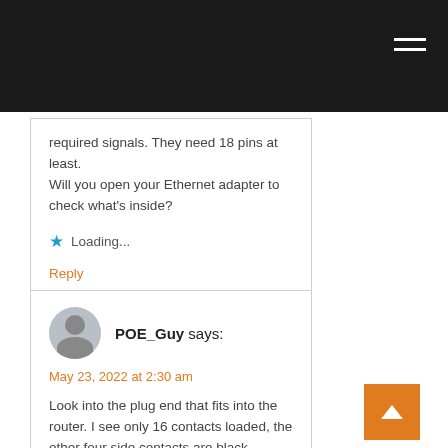Navigation bar with hamburger menu
required signals. They need 18 pins at least.
Will you open your Ethernet adapter to check what's inside?
Loading...
Reply
POE_Guy says:
May 23, 2022 at 2:30 am
Look into the plug end that fits into the router. I see only 16 contacts loaded, the other four side contacts are black.